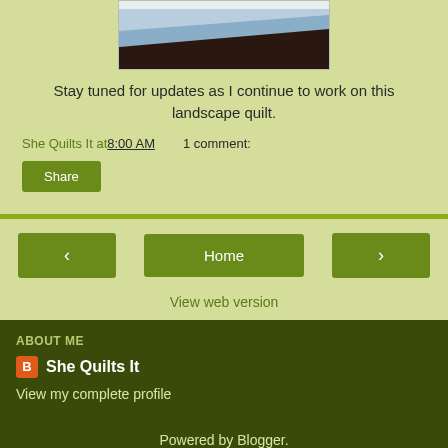[Figure (photo): A landscape quilt in progress showing layers of light gray/white at top, light blue in middle, and dark brown/black fabric at bottom forming a diagonal mountain silhouette shape.]
Stay tuned for updates as I continue to work on this landscape quilt.
She Quilts It at 8:00 AM    1 comment:
Share
‹
Home
›
View web version
ABOUT ME
She Quilts It
View my complete profile
Powered by Blogger.